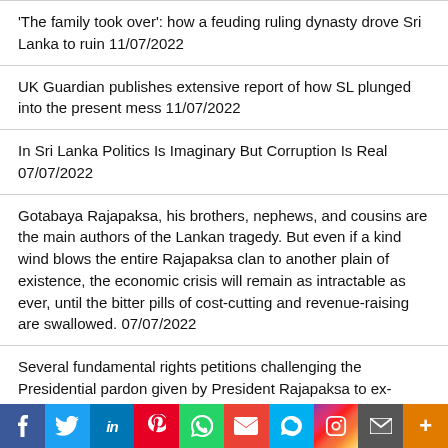‘The family took over’: how a feuding ruling dynasty drove Sri Lanka to ruin 11/07/2022
UK Guardian publishes extensive report of how SL plunged into the present mess 11/07/2022
In Sri Lanka Politics Is Imaginary But Corruption Is Real 07/07/2022
Gotabaya Rajapaksa, his brothers, nephews, and cousins are the main authors of the Lankan tragedy. But even if a kind wind blows the entire Rajapaksa clan to another plain of existence, the economic crisis will remain as intractable as ever, until the bitter pills of cost-cutting and revenue-raising are swallowed. 07/07/2022
Several fundamental rights petitions challenging the Presidential pardon given by President Rajapaksa to ex-soldier Sunil Ratnayake who was Convicted for the Murder of
f  Twitter  in  Pinterest  WhatsApp  Gmail  Skype  Instagram  Mail  More